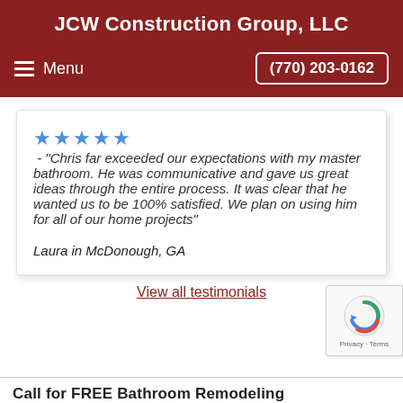JCW Construction Group, LLC
Menu  (770) 203-0162
★★★★★ - "Chris far exceeded our expectations with my master bathroom. He was communicative and gave us great ideas through the entire process. It was clear that he wanted us to be 100% satisfied. We plan on using him for all of our home projects"  Laura in McDonough, GA
View all testimonials
Call for FREE Bathroom Remodeling